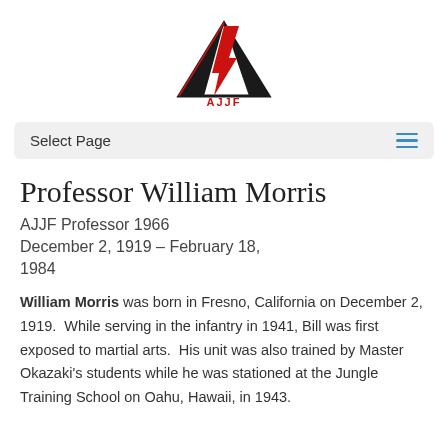[Figure (logo): AJJF logo — stylized black mountain/triangle shape with red lightning bolt and red letter A, with 'AJJF' text below in red]
Select Page
Professor William Morris
AJJF Professor 1966
December 2, 1919 – February 18, 1984
William Morris was born in Fresno, California on December 2, 1919.  While serving in the infantry in 1941, Bill was first exposed to martial arts.  His unit was also trained by Master Okazaki's students while he was stationed at the Jungle Training School on Oahu, Hawaii, in 1943.